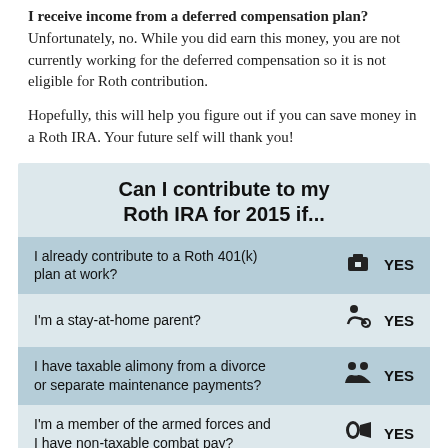I receive income from a deferred compensation plan? Unfortunately, no. While you did earn this money, you are not currently working for the deferred compensation so it is not eligible for Roth contribution.
Hopefully, this will help you figure out if you can save money in a Roth IRA. Your future self will thank you!
[Figure (infographic): Infographic titled 'Can I contribute to my Roth IRA for 2015 if...' with four rows listing scenarios (I already contribute to a Roth 401(k) plan at work?, I'm a stay-at-home parent?, I have taxable alimony from a divorce or separate maintenance payments?, I'm a member of the armed forces and I have non-taxable combat pay?) each answered YES with an icon.]